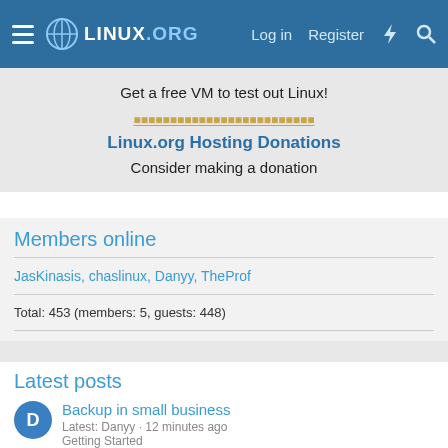LINUX.ORG  Log in  Register
Get a free VM to test out Linux!
Linux.org Hosting Donations
Consider making a donation
Members online
JasKinasis, chaslinux, Danyy, TheProf
Total: 453 (members: 5, guests: 448)
Latest posts
Backup in small business
Latest: Danyy · 12 minutes ago
Getting Started
Simple copy from external USB hdd to Ubuntu PC does not